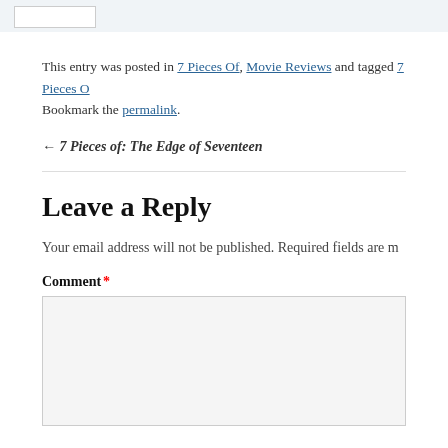This entry was posted in 7 Pieces Of, Movie Reviews and tagged 7 Pieces O... Bookmark the permalink.
← 7 Pieces of: The Edge of Seventeen
Leave a Reply
Your email address will not be published. Required fields are m...
Comment *